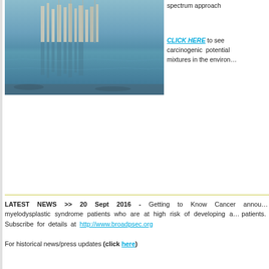[Figure (photo): Photograph of a marina or harbor with reflections of buildings and boats in the water, blue sky and water tones.]
spectrum approach
CLICK HERE to see carcinogenic potential mixtures in the environment
LATEST NEWS >> 20 Sept 2016 - Getting to Know Cancer announced myelodysplastic syndrome patients who are at high risk of developing a... patients. Subscribe for details at http://www.broadpsec.org
For historical news/press updates (click here)
Know Cancer
People living in Canada, the USA, and many other western nations now have a 35-50% chance of getting some type of cancer in their lifetime. Lifestyle and other environmental factors are now known to be largely responsible for this problem,
The Environment
While many prevention o contribution c modifiable ca science has e